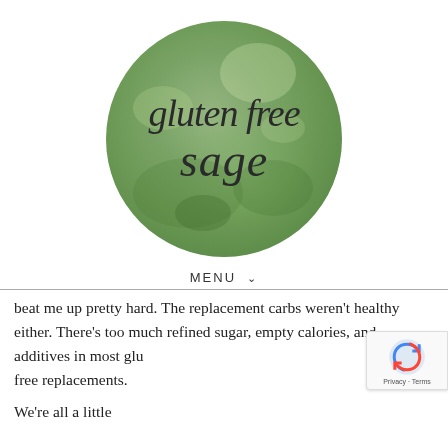[Figure (logo): Gluten Free Sage logo: a round green watercolor circle with cursive script text reading 'gluten free sage']
MENU ∨
beat me up pretty hard. The replacement carbs weren't healthy either. There's too much refined sugar, empty calories, and additives in most gluten free replacements.
We're all a little...